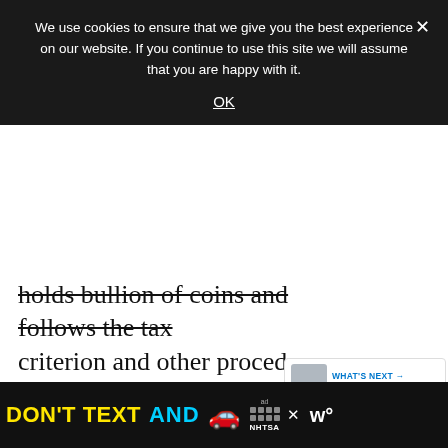We use cookies to ensure that we give you the best experience on our website. If you continue to use this site we will assume that you are happy with it.
OK
holds bullion of coins and follows the tax criterion and other procedures that conventional IRAs follow. The self-directed individual retirement accounts bearing precious metals are a bit more expensive and somewhat more complex with their requirements.
[Figure (photo): Three people wearing face masks standing together, appearing to be healthcare or essential workers.]
[Figure (infographic): NHTSA advertisement banner: DON'T TEXT AND [car emoji] with NHTSA logo and ad badge.]